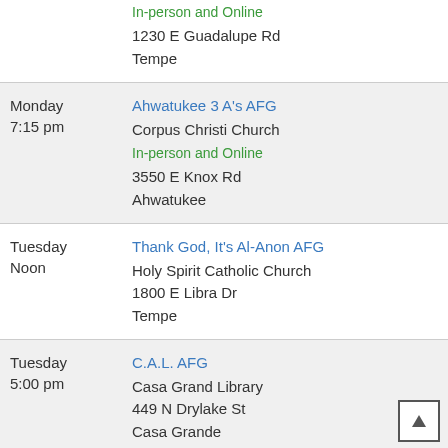In-person and Online
1230 E Guadalupe Rd
Tempe
Monday 7:15 pm | Ahwatukee 3 A's AFG | Corpus Christi Church | In-person and Online | 3550 E Knox Rd | Ahwatukee
Tuesday Noon | Thank God, It's Al-Anon AFG | Holy Spirit Catholic Church | 1800 E Libra Dr | Tempe
Tuesday 5:00 pm | C.A.L. AFG | Casa Grand Library | 449 N Drylake St | Casa Grande
Tuesday 5:30 pm | Serenity at 5:30pm AFG | Spirit of Hope Lutheran Church